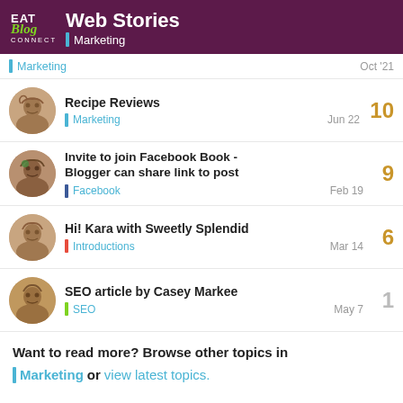Web Stories | Marketing
Marketing · Oct '21
Recipe Reviews · Marketing · Jun 22 · 10 replies
Invite to join Facebook Book - Blogger can share link to post · Facebook · Feb 19 · 9 replies
Hi! Kara with Sweetly Splendid · Introductions · Mar 14 · 6 replies
SEO article by Casey Markee · SEO · May 7 · 1 reply
Want to read more? Browse other topics in Marketing or view latest topics.